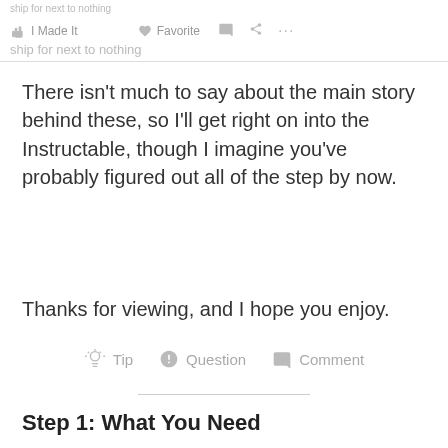I Made It   Favorite   Comment   Share   ...
There isn't much to say about the main story behind these, so I'll get right on into the Instructable, though I imagine you've probably figured out all of the step by now.
Thanks for viewing, and I hope you enjoy.
Tip   Question   Comment
Step 1: What You Need